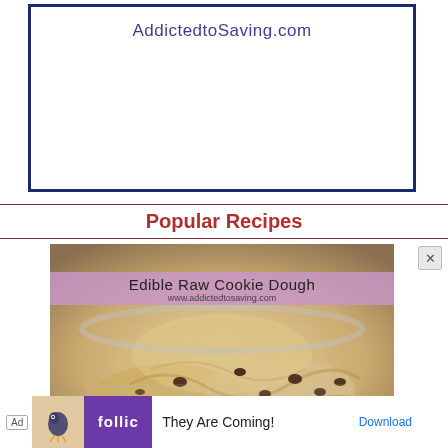[Figure (screenshot): White box with navy border containing website name 'AddictedtoSaving.com' at top in stylized font]
Popular Recipes
[Figure (photo): Photo of edible raw cookie dough with chocolate chips in a glass bowl. Banner overlay reads 'Edible Raw Cookie Dough' and 'www.addictedtosaving.com']
[Figure (screenshot): Ad banner at bottom: 'Ad' label, Rollic game icon, purple box with 'follic' logo, text 'They Are Coming!' and 'Download' link]